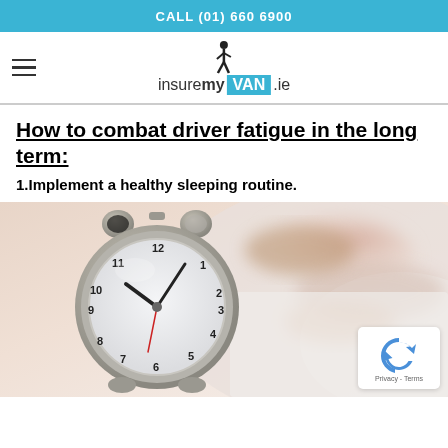CALL (01) 660 6900
[Figure (logo): insuremyVAN.ie logo with silhouette of a walking person above the text]
How to combat driver fatigue in the long term:
1.Implement a healthy sleeping routine.
[Figure (photo): Photo of an alarm clock in the foreground with a woman sleeping in the background on white bedding]